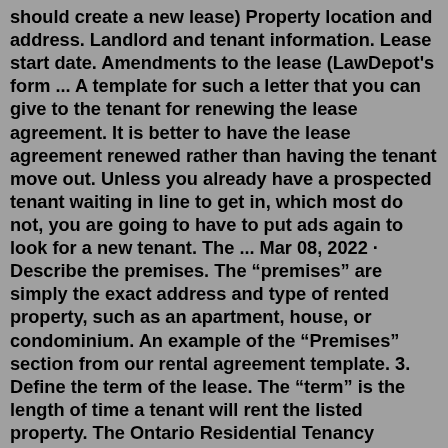should create a new lease) Property location and address. Landlord and tenant information. Lease start date. Amendments to the lease (LawDepot's form ... A template for such a letter that you can give to the tenant for renewing the lease agreement. It is better to have the lease agreement renewed rather than having the tenant move out. Unless you already have a prospected tenant waiting in line to get in, which most do not, you are going to have to put ads again to look for a new tenant. The ... Mar 08, 2022 · Describe the premises. The “premises” are simply the exact address and type of rented property, such as an apartment, house, or condominium. An example of the “Premises” section from our rental agreement template. 3. Define the term of the lease. The “term” is the length of time a tenant will rent the listed property. The Ontario Residential Tenancy Agreement (Standard Form Lease) has undergone some amendments and the updated new form must be used beginning March 1, 2021. The amendments were needed to reflect changes made by Bill 184.